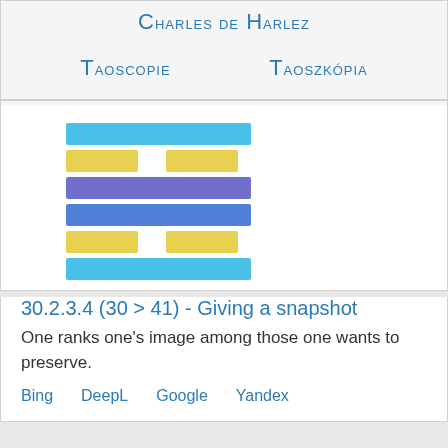Charles de Harlez
Taoscopie   Taoszkópia
[Figure (illustration): Hexagram composed of 6 lines: line 1 (top) full sky-blue, line 2 broken yellow, line 3 full purple, line 4 full blue, line 5 broken yellow, line 6 full sky-blue]
30.2.3.4 (30 > 41) - Giving a snapshot
One ranks one's image among those one wants to preserve.
Bing   DeepL   Google   Yandex